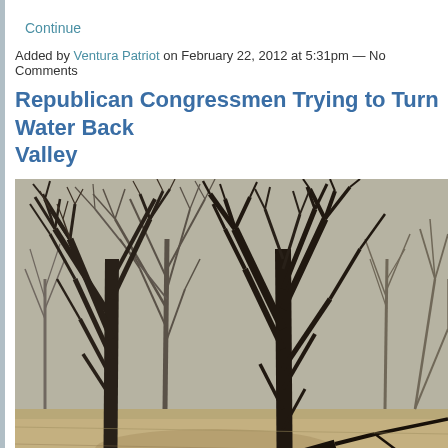Continue
Added by Ventura Patriot on February 22, 2012 at 5:31pm — No Comments
Republican Congressmen Trying to Turn Water Back Valley
[Figure (photo): Dead or dying bare trees in a dry, dusty field — likely an orchard or grove affected by drought or lack of water. Branches are leafless and twisted; one large tree trunk lies fallen on the ground.]